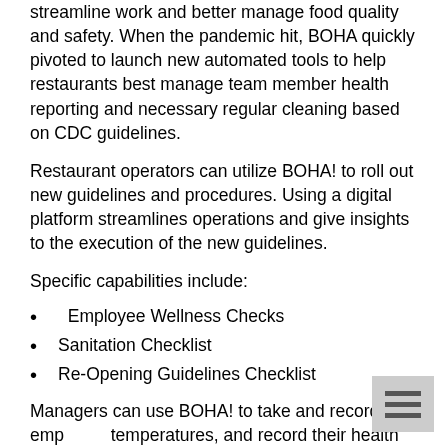streamline work and better manage food quality and safety. When the pandemic hit, BOHA quickly pivoted to launch new automated tools to help restaurants best manage team member health reporting and necessary regular cleaning based on CDC guidelines.
Restaurant operators can utilize BOHA! to roll out new guidelines and procedures. Using a digital platform streamlines operations and give insights to the execution of the new guidelines.
Specific capabilities include:
Employee Wellness Checks
Sanitation Checklist
Re-Opening Guidelines Checklist
Managers can use BOHA! to take and record emp temperatures, and record their health checklist